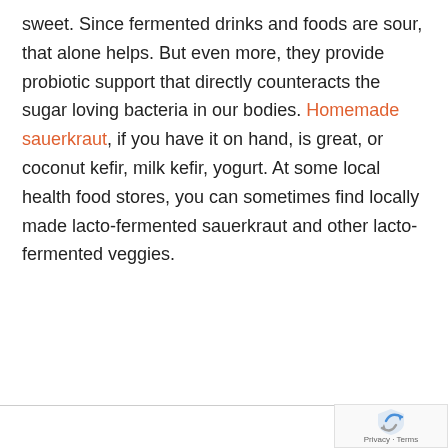sweet. Since fermented drinks and foods are sour, that alone helps. But even more, they provide probiotic support that directly counteracts the sugar loving bacteria in our bodies. Homemade sauerkraut, if you have it on hand, is great, or coconut kefir, milk kefir, yogurt. At some local health food stores, you can sometimes find locally made lacto-fermented sauerkraut and other lacto-fermented veggies.
[Figure (logo): reCAPTCHA badge with shield logo and Privacy + Terms text]